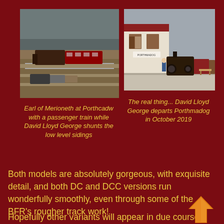[Figure (photo): Model train layout showing Earl of Merioneth at Porthcadw with a passenger train, and David Lloyd George shunting the low level sidings]
[Figure (photo): Real photograph of David Lloyd George steam locomotive departing Porthmadog station in October 2019]
Earl of Merioneth at Porthcadw with a passenger train while David Lloyd George shunts the low level sidings
The real thing... David Lloyd George departs Porthmadog in October 2019
Both models are absolutely gorgeous, with exquisite detail, and both DC and DCC versions run wonderfully smoothly, even through some of the BFR’s rougher track work!
Hopefully other variants will appear in due course, though it is now not clear what will